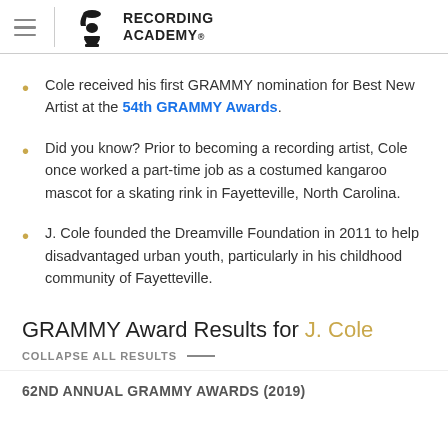Recording Academy
Cole received his first GRAMMY nomination for Best New Artist at the 54th GRAMMY Awards.
Did you know? Prior to becoming a recording artist, Cole once worked a part-time job as a costumed kangaroo mascot for a skating rink in Fayetteville, North Carolina.
J. Cole founded the Dreamville Foundation in 2011 to help disadvantaged urban youth, particularly in his childhood community of Fayetteville.
GRAMMY Award Results for J. Cole
COLLAPSE ALL RESULTS —
62ND ANNUAL GRAMMY AWARDS (2019)